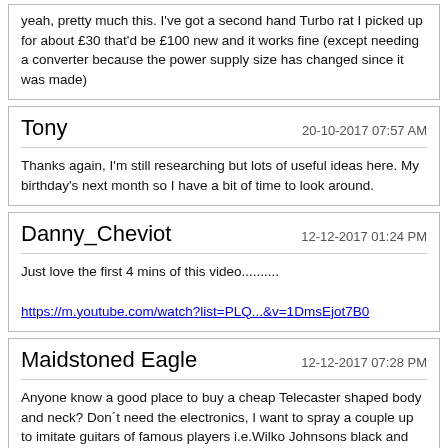yeah, pretty much this. I've got a second hand Turbo rat I picked up for about £30 that'd be £100 new and it works fine (except needing a converter because the power supply size has changed since it was made)
Tony
20-10-2017 07:57 AM
Thanks again, I'm still researching but lots of useful ideas here. My birthday's next month so I have a bit of time to look around.
Danny_Cheviot
12-12-2017 01:24 PM
Just love the first 4 mins of this video..........
https://m.youtube.com/watch?list=PLQ...&v=1DmsEjot7B0
Maidstoned Eagle
12-12-2017 07:28 PM
Anyone know a good place to buy a cheap Telecaster shaped body and neck? Don´t need the electronics, I want to spray a couple up to imitate guitars of famous players i.e.Wilko Johnsons black and red one
f...